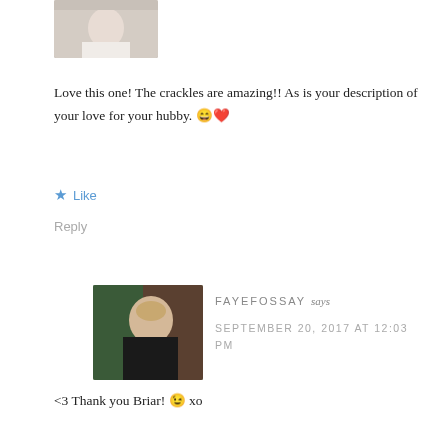[Figure (photo): Partial top of a photo showing a small child in white clothing on a path]
Love this one! The crackles are amazing!! As is your description of your love for your hubby. 😄❤️
★ Like
Reply
[Figure (photo): Portrait photo of a woman with blonde hair wearing a dark top, standing near a tree]
FAYEFOSSAY says
SEPTEMBER 20, 2017 AT 12:03 PM
<3 Thank you Briar! 😉 xo